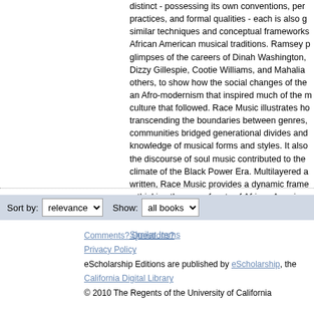distinct - possessing its own conventions, performance practices, and formal qualities - each is also grounded in similar techniques and conceptual frameworks rooted in African American musical traditions. Ramsey provides glimpses of the careers of Dinah Washington, Charlie Parker, Dizzy Gillespie, Cootie Williams, and Mahalia Jackson, among others, to show how the social changes of the era spawned an Afro-modernism that inspired much of the music and culture that followed. Race Music illustrates how music, transcending the boundaries between genres, helped communities bridged generational divides and transmitted knowledge of musical forms and styles. It also reveals how the discourse of soul music contributed to the political climate of the Black Power Era. Multilayered and elegantly written, Race Music provides a dynamic framework for rethinking the many facets of African American music and the ethnocentric energy that infused its creation.
Similar Items
Sort by: relevance   Show: all books
Comments? Questions?
Privacy Policy
eScholarship Editions are published by eScholarship, the California Digital Library
© 2010 The Regents of the University of California